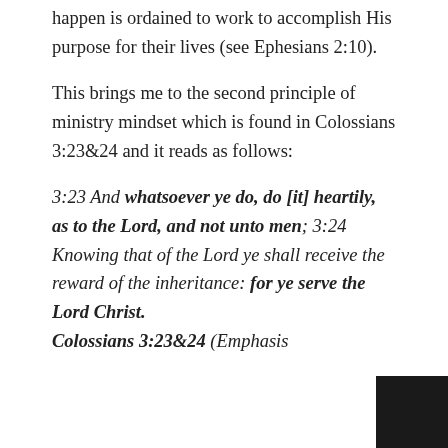happen is ordained to work to accomplish His purpose for their lives (see Ephesians 2:10).
This brings me to the second principle of ministry mindset which is found in Colossians 3:23&24 and it reads as follows:
3:23 And whatsoever ye do, do [it] heartily, as to the Lord, and not unto men; 3:24 Knowing that of the Lord ye shall receive the reward of the inheritance: for ye serve the Lord Christ. Colossians 3:23&24 (Emphasis